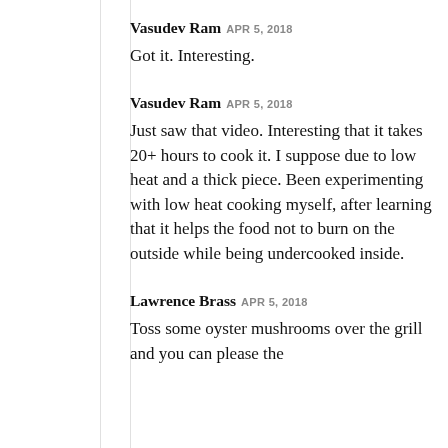Vasudev Ram APR 5, 2018
Got it. Interesting.
Vasudev Ram APR 5, 2018
Just saw that video. Interesting that it takes 20+ hours to cook it. I suppose due to low heat and a thick piece. Been experimenting with low heat cooking myself, after learning that it helps the food not to burn on the outside while being undercooked inside.
Lawrence Brass APR 5, 2018
Toss some oyster mushrooms over the grill and you can please the